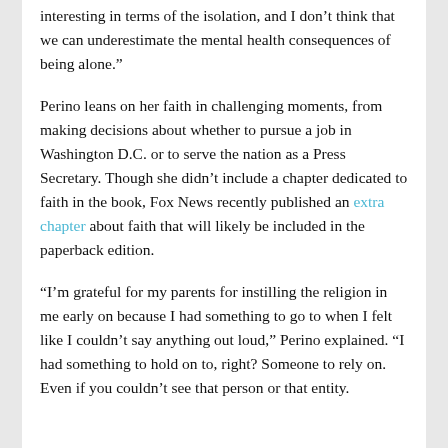interesting in terms of the isolation, and I don’t think that we can underestimate the mental health consequences of being alone.”
Perino leans on her faith in challenging moments, from making decisions about whether to pursue a job in Washington D.C. or to serve the nation as a Press Secretary. Though she didn’t include a chapter dedicated to faith in the book, Fox News recently published an extra chapter about faith that will likely be included in the paperback edition.
“I’m grateful for my parents for instilling the religion in me early on because I had something to go to when I felt like I couldn’t say anything out loud,” Perino explained. “I had something to hold on to, right? Someone to rely on. Even if you couldn’t see that person or that entity.